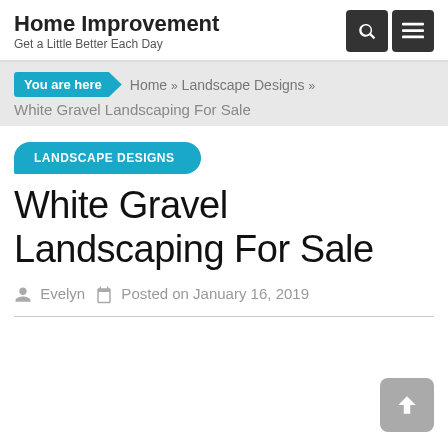Home Improvement — Get a Little Better Each Day
You are here > Home >> Landscape Designs >> White Gravel Landscaping For Sale
LANDSCAPE DESIGNS
White Gravel Landscaping For Sale
Evelyn  Posted on January 16, 2019